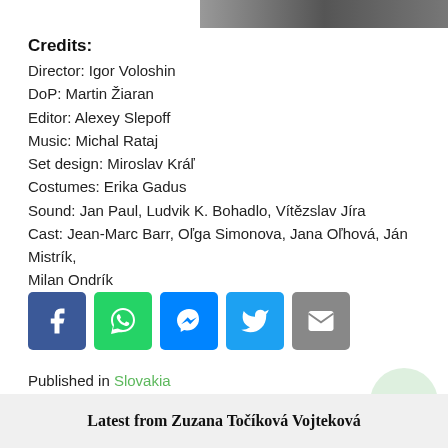[Figure (photo): Partial photo strip at top right of page]
Credits:
Director: Igor Voloshin
DoP: Martin Žiaran
Editor: Alexey Slepoff
Music: Michal Rataj
Set design: Miroslav Kráľ
Costumes: Erika Gadus
Sound: Jan Paul, Ludvik K. Bohadlo, Vítězslav Jíra
Cast: Jean-Marc Barr, Oľga Simonova, Jana Oľhová, Ján Mistrík, Milan Ondrík
[Figure (infographic): Social sharing icons: Facebook, WhatsApp, Messenger, Twitter, Email]
Published in Slovakia
Latest from Zuzana Točíková Vojteková